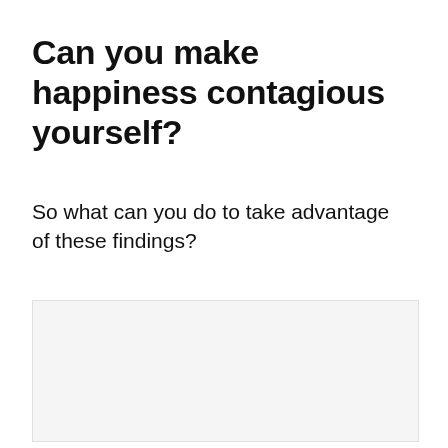Can you make happiness contagious yourself?
So what can you do to take advantage of these findings?
[Figure (other): Light gray placeholder image box with a scroll-to-top button (gray square with upward chevron arrow) in the lower right corner.]